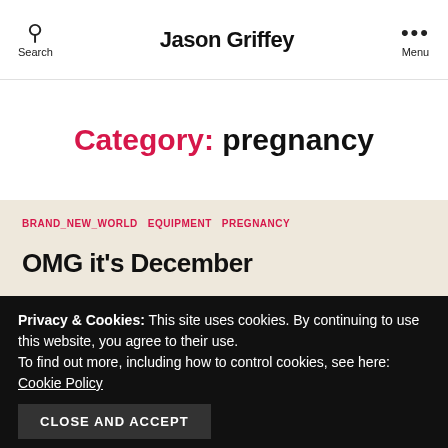Search  Jason Griffey  Menu
Category: pregnancy
BRAND_NEW_WORLD  EQUIPMENT  PREGNANCY
OMG it's December
Privacy & Cookies: This site uses cookies. By continuing to use this website, you agree to their use. To find out more, including how to control cookies, see here: Cookie Policy
CLOSE AND ACCEPT